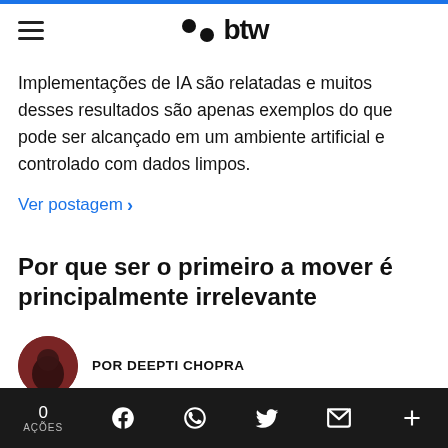btw
Implementações de IA são relatadas e muitos desses resultados são apenas exemplos do que pode ser alcançado em um ambiente artificial e controlado com dados limpos.
Ver postagem >
Por que ser o primeiro a mover é principalmente irrelevante
POR DEEPTI CHOPRA
A btw.so usa cookies para garantir que você tenha a melhor experiência no nosso site. Saber mais
0 AÇÕES